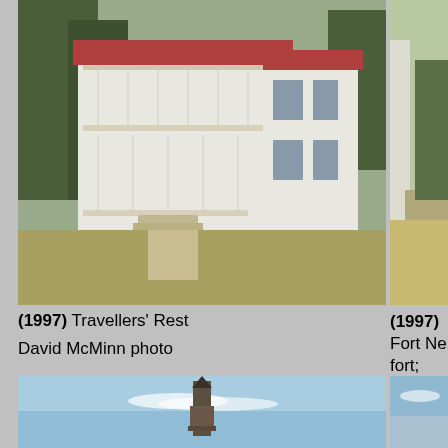[Figure (photo): Historic two-story white house with wraparound porches, trees in background - Travellers' Rest]
(1997) Travellers' Rest
David McMinn photo
[Figure (photo): Partial view of Fort Negley area, right side cropped]
(1997) Fort Ne... fort; however, Nashville were... army's outer p...
David McMinn...
[Figure (photo): Thumbnail image of stone fortification]
Se... Andrew Turnie...
[Figure (photo): Church steeple against blue sky - bottom left photo]
[Figure (photo): Partial right bottom photo]